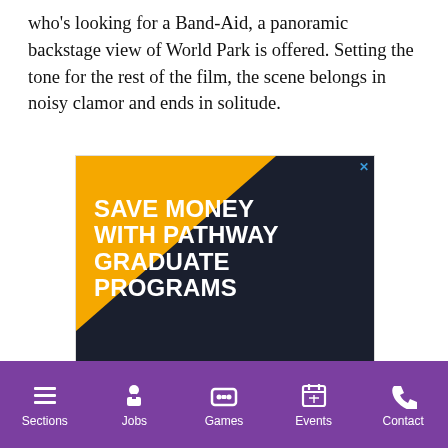who's looking for a Band-Aid, a panoramic backstage view of World Park is offered. Setting the tone for the rest of the film, the scene belongs in noisy clamor and ends in solitude.
[Figure (other): Advertisement for Touro University — 'Save Money with Pathway Graduate Programs'. Dark navy and gold diagonal design with orange learn more bar at bottom. Touro University New York School of Career & Applied Studies logo shown.]
Sections | Jobs | Games | Events | Contact